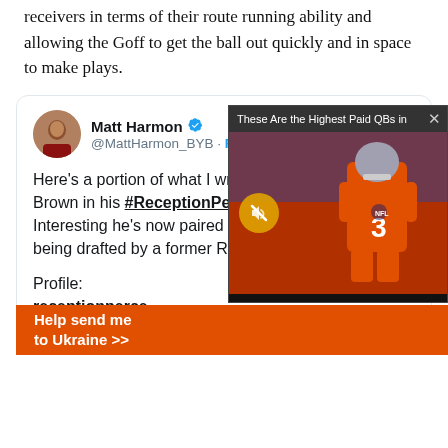receivers in terms of their route running ability and allowing the Goff to get the ball out quickly and in space to make plays.
[Figure (screenshot): Embedded tweet from Matt Harmon (@MattHarmon_BYB) with verified badge and Follow button. Tweet text: "Here's a portion of what I wrote about Amon-Ra St. Brown in his #ReceptionPerception profile. Interesting he's now paired with Jared Goff after being drafted by a former Rams front office guy. Profile: receptionperce...bro..." with orange Help send me to Ukraine banner at bottom and a video overlay showing a Denver Broncos player wearing #3.]